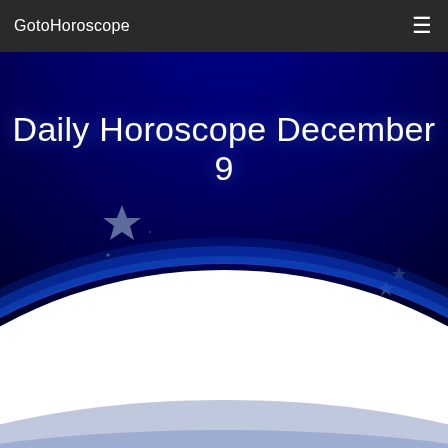GotoHoroscope
[Figure (illustration): Night sky over Earth hero image with deep blue/dark background, stars scattered, bright white glowing Earth horizon curving across lower portion of image]
Daily Horoscope December 9